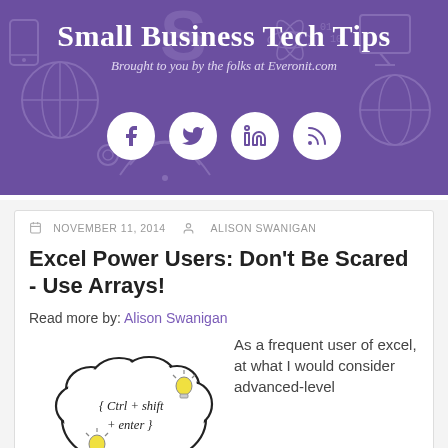Small Business Tech Tips
Brought to you by the folks at Everonit.com
[Figure (other): Social media icons: Facebook, Twitter, LinkedIn, RSS feed in white circles on purple background]
NOVEMBER 11, 2014   ALISON SWANIGAN
Excel Power Users: Don't Be Scared - Use Arrays!
Read more by: Alison Swanigan
[Figure (illustration): Hand-drawn thought bubble containing text '{Ctrl + shift + enter}' with small yellow light bulbs]
As a frequent user of excel, at what I would consider advanced-level